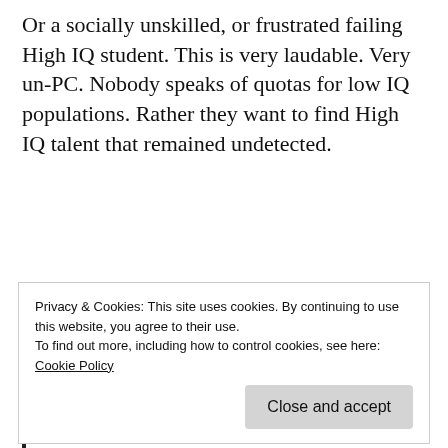Or a socially unskilled, or frustrated failing High IQ student. This is very laudable. Very un-PC. Nobody speaks of quotas for low IQ populations. Rather they want to find High IQ talent that remained undetected.
A better selection of Gymnasium (HS) students would be for the interests of society. “After all, society pays for the education.” [source]
Privacy & Cookies: This site uses cookies. By continuing to use this website, you agree to their use.
To find out more, including how to control cookies, see here:
Cookie Policy
At the end of primary school (or at the